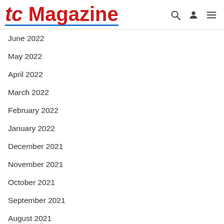tc Magazine
June 2022
May 2022
April 2022
March 2022
February 2022
January 2022
December 2021
November 2021
October 2021
September 2021
August 2021
July 2021